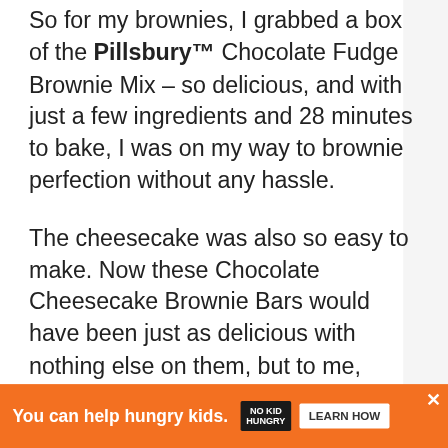So for my brownies, I grabbed a box of the Pillsbury™ Chocolate Fudge Brownie Mix – so delicious, and with just a few ingredients and 28 minutes to bake, I was on my way to brownie perfection without any hassle.
The cheesecake was also so easy to make. Now these Chocolate Cheesecake Brownie Bars would have been just as delicious with nothing else on them, but to me, visually they were lacking.
I honestly wanted to drench them in my homemade hot fudge to further nurture my
218
You can help hungry kids.  NO KID HUNGRY  LEARN HOW